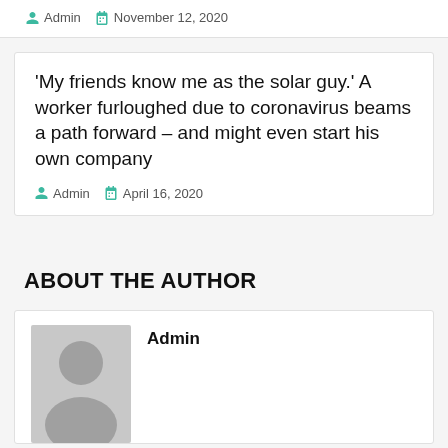Admin  November 12, 2020
'My friends know me as the solar guy.' A worker furloughed due to coronavirus beams a path forward – and might even start his own company
Admin  April 16, 2020
ABOUT THE AUTHOR
Admin